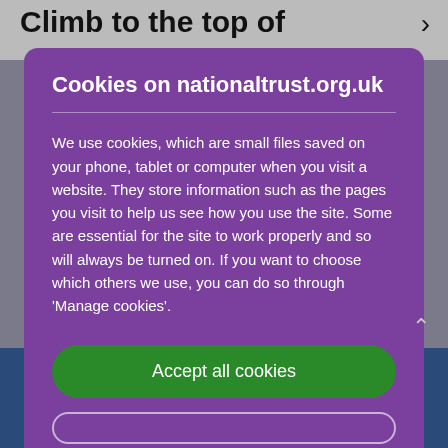Climb to the top of
Cookies on nationaltrust.org.uk
We use cookies, which are small files saved on your phone, tablet or computer when you visit a website. They store information such as the pages you visit to help us see how you use the site. Some are essential for the site to work properly and so will always be turned on. If you want to choose which others we use, you can do so through 'Manage cookies'.
Accept all cookies